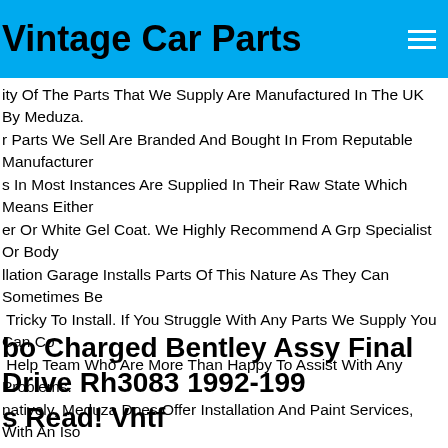Vintage Car Parts
ity Of The Parts That We Supply Are Manufactured In The UK By Meduza. r Parts We Sell Are Branded And Bought In From Reputable Manufacturers. s In Most Instances Are Supplied In Their Raw State Which Means Either er Or White Gel Coat. We Highly Recommend A Grp Specialist Or Body llation Garage Installs Parts Of This Nature As They Can Sometimes Be Tricky To Install. If You Struggle With Any Parts We Supply You Can Contact Help Team Who Are More Than Happy To Assist With Any Problems. natively, Meduza Does Offer Installation And Paint Services, With An Iso oved Body Shop And Over 22 Years In The Industry. If You Choose To rns The Goods That Have Been Supplied, You Must Inform Us By Email he Immediately As There Is A Small Amount O.
bo Charged Bentley Assy Final Drive Rh3083 1992-1999 s Read! Vhtf